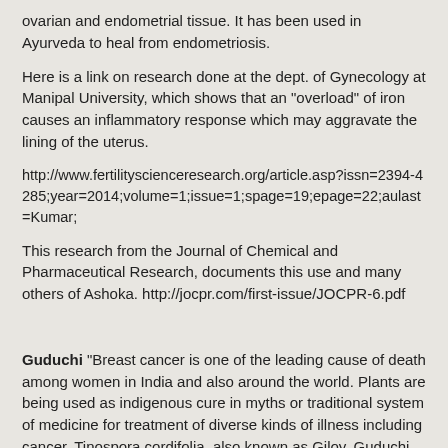ovarian and endometrial tissue. It has been used in Ayurveda to heal from endometriosis.
Here is a link on research done at the dept. of Gynecology at Manipal University, which shows that an "overload" of iron causes an inflammatory response which may aggravate the lining of the uterus.
http://www.fertilityscienceresearch.org/article.asp?issn=2394-4285;year=2014;volume=1;issue=1;spage=19;epage=22;aulast=Kumar;
This research from the Journal of Chemical and Pharmaceutical Research, documents this use and many others of Ashoka. http://jocpr.com/first-issue/JOCPR-6.pdf
Guduchi "Breast cancer is one of the leading cause of death among women in India and also around the world. Plants are being used as indigenous cure in myths or traditional system of medicine for treatment of diverse kinds of illness including cancer. Tinospora cordifolia, also known as Giloy, Guduchi or Amrita, is used in the treatment of various diseases in the traditional medicinal system in India. It is a significant medicinal plant cultivated throughout the Indian